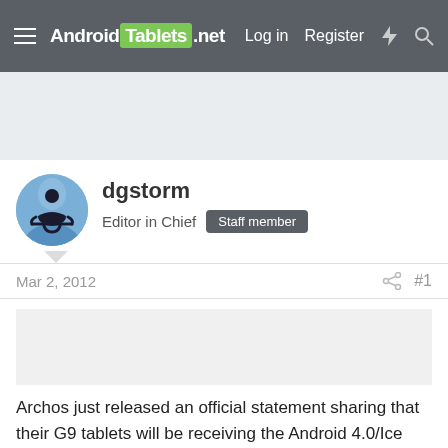Android Tablets .net  Log in  Register
[Figure (photo): Avatar image of user dgstorm - silhouette of person meditating on a blue sky background]
dgstorm
Editor in Chief  Staff member
Mar 2, 2012  #1
Archos just released an official statement sharing that their G9 tablets will be receiving the Android 4.0/Ice Cream Sandwich update within the next two weeks. Originally, they announced back in January that they